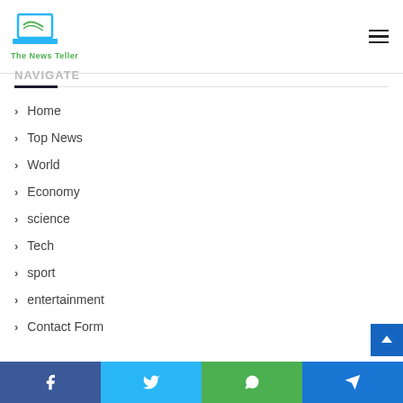The News Teller
Navigate
Home
Top News
World
Economy
science
Tech
sport
entertainment
Contact Form